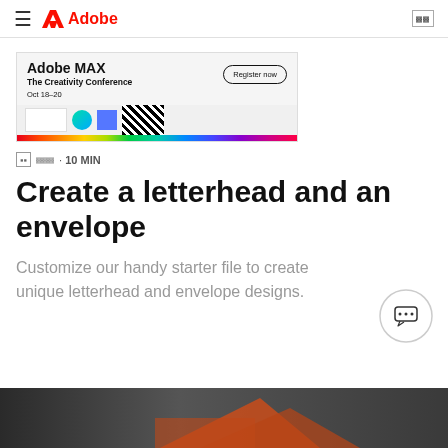≡  Adobe
[Figure (screenshot): Adobe MAX banner ad — 'Adobe MAX The Creativity Conference Oct 18–20' with 'Register now' button and colorful graphic strip]
⬛⬛⬛ · 10 MIN
Create a letterhead and an envelope
Customize our handy starter file to create unique letterhead and envelope designs.
[Figure (photo): Bottom preview image of letterhead/envelope design — dark background with orange accent]